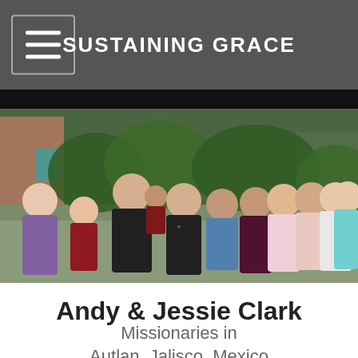SUSTAINING GRACE
[Figure (photo): Family group photo of Andy and Jessie Clark with several children, standing outdoors in front of green foliage and colorful buildings]
Andy & Jessie Clark
Missionaries in
Autlan, Jalisco, Mexico